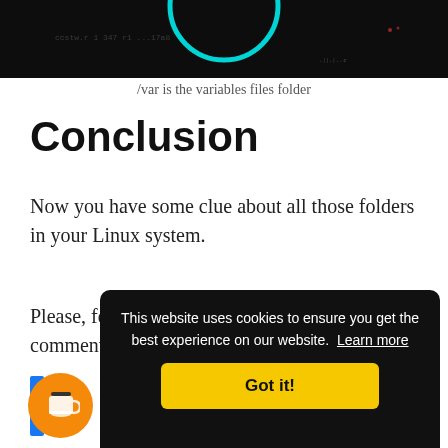[Figure (screenshot): Dark terminal/system image with a teal circle overlay at top]
/var is the variables files folder
Conclusion
Now you have some clue about all those folders in your Linux system.
Please, feel free to add anything in the comments be
[Figure (screenshot): Cookie consent banner overlay: 'This website uses cookies to ensure you get the best experience on our website. Learn more' with a 'Got it!' yellow button. Bottom left shows an orange circular button with a coffee cup icon.]